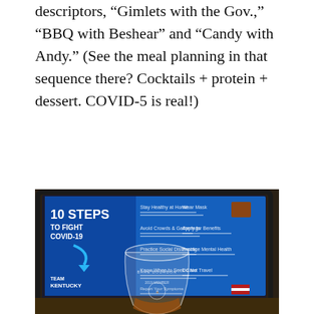descriptors, "Gimlets with the Gov.," "BBQ with Beshear" and "Candy with Andy." (See the meal planning in that sequence there? Cocktails + protein + dessert. COVID-5 is real!)
[Figure (photo): Photo of a bourbon glass with 'Bare Bourbon 2019 Member' etched on it, sitting in front of a TV screen displaying '10 Steps to Fight COVID-19 - Team Kentucky' presentation slide.]